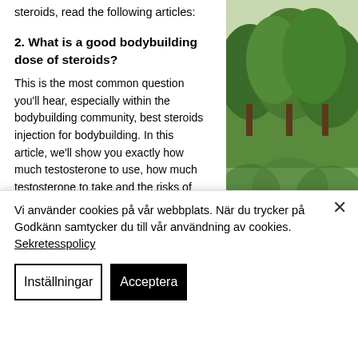steroids, read the following articles:
2. What is a good bodybuilding dose of steroids?
This is the most common question you'll hear, especially within the bodybuilding community, best steroids injection for bodybuilding. In this article, we'll show you exactly how much testosterone to use, how much testosterone to take and the risks of what level of testosterone you should use.
For more information, please consult the
[Figure (photo): Outdoor nature photo showing trees with green foliage reflected in water, with yellow/orange plants in the foreground]
Vi använder cookies på vår webbplats. När du trycker på Godkänn samtycker du till vår användning av cookies. Sekretesspolicy
Inställningar
Acceptera